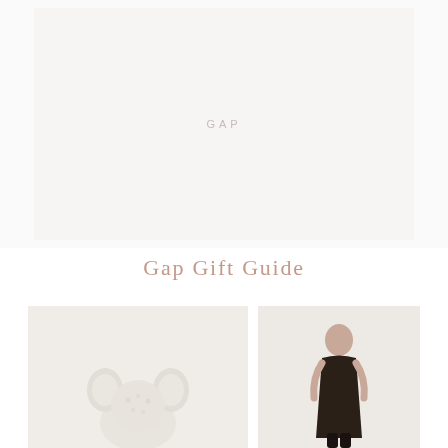[Figure (photo): Large light-colored product image area at top of page, nearly white/cream background with very faint Gap logo text centered]
Gap Gift Guide
[Figure (photo): Left bottom product photo showing a white fluffy/textured item resembling a stuffed animal or plush toy with ear-like shapes, cream background]
[Figure (photo): Right bottom product photo showing a person or child figure from behind, light background]